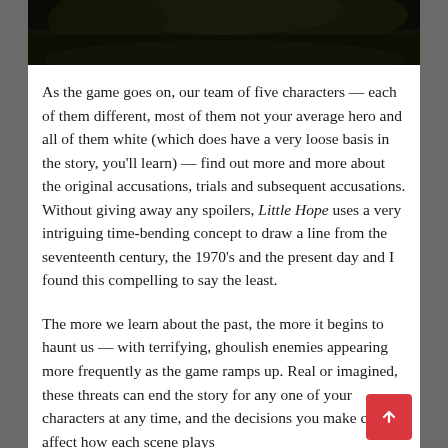[Figure (photo): Dark atmospheric photo, appears to show trees or foliage against a dark background, cropped at top]
As the game goes on, our team of five characters — each of them different, most of them not your average hero and all of them white (which does have a very loose basis in the story, you'll learn) — find out more and more about the original accusations, trials and subsequent accusations. Without giving away any spoilers, Little Hope uses a very intriguing time-bending concept to draw a line from the seventeenth century, the 1970's and the present day and I found this compelling to say the least.
The more we learn about the past, the more it begins to haunt us — with terrifying, ghoulish enemies appearing more frequently as the game ramps up. Real or imagined, these threats can end the story for any one of your characters at any time, and the decisions you make can affect how each scene plays